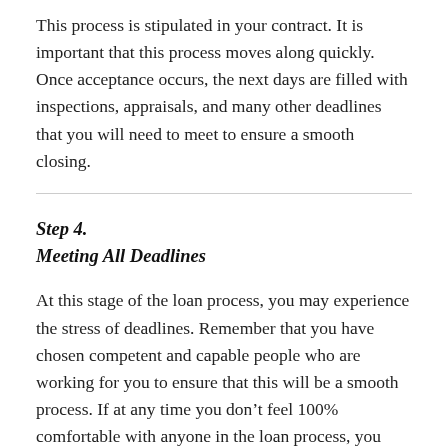This process is stipulated in your contract. It is important that this process moves along quickly. Once acceptance occurs, the next days are filled with inspections, appraisals, and many other deadlines that you will need to meet to ensure a smooth closing.
Step 4.
Meeting All Deadlines
At this stage of the loan process, you may experience the stress of deadlines. Remember that you have chosen competent and capable people who are working for you to ensure that this will be a smooth process. If at any time you don't feel 100% comfortable with anyone in the loan process, you should ask another party for consultation.